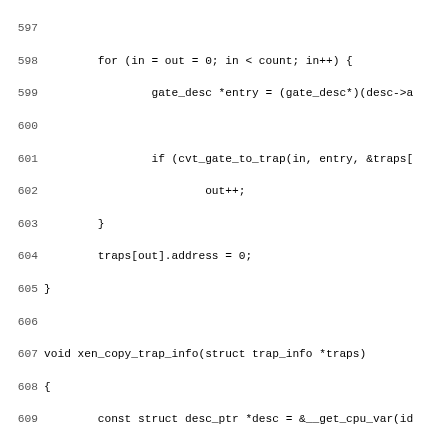Source code listing lines 597-629, C code implementing xen trap info functions